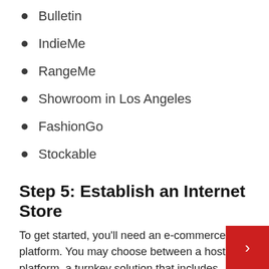Bulletin
IndieMe
RangeMe
Showroom in Los Angeles
FashionGo
Stockable
Step 5: Establish an Internet Store
To get started, you'll need an e-commerce platform. You may choose between a hosted platform, a turnkey solution that includes everything you need to launch and run your shop, and an open-source platform, which takes a little more technical know-how to set up and maintain. Open-source systems